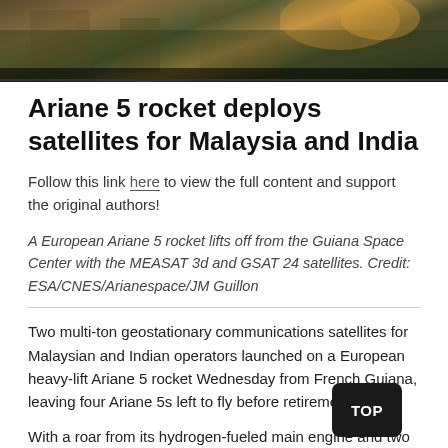[Figure (photo): Aerial/landscape photo showing a rocket launch site or space center at dusk, with warm golden and green tones, buildings and field visible.]
Ariane 5 rocket deploys satellites for Malaysia and India
Follow this link here to view the full content and support the original authors!
A European Ariane 5 rocket lifts off from the Guiana Space Center with the MEASAT 3d and GSAT 24 satellites. Credit: ESA/CNES/Arianespace/JM Guillon
Two multi-ton geostationary communications satellites for Malaysian and Indian operators launched on a European heavy-lift Ariane 5 rocket Wednesday from French Guiana, leaving four Ariane 5s left to fly before retirement.
With a roar from its hydrogen-fueled main engine and two solid rocket boosters, the heavy-lift rocket launched at 5:50 p.m. EDT (2150 GMT). It broke through the Surface...